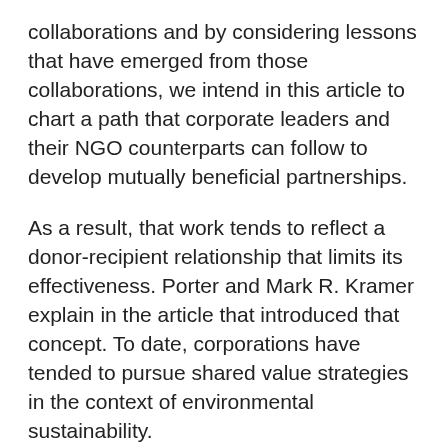collaborations and by considering lessons that have emerged from those collaborations, we intend in this article to chart a path that corporate leaders and their NGO counterparts can follow to develop mutually beneficial partnerships.
As a result, that work tends to reflect a donor-recipient relationship that limits its effectiveness. Porter and Mark R. Kramer explain in the article that introduced that concept. To date, corporations have tended to pursue shared value strategies in the context of environmental sustainability.
But some companies, such as Unilever, have begun to see the empowerment of women as an equally important element of a sustainable business model.
When Unilever launched its Sustainable Living Plan inthe initial focus of the initiative was on reducing the environmental impact of its operations. But starting inthe